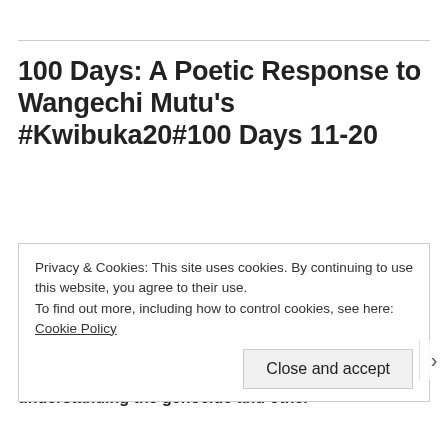100 Days: A Poetic Response to Wangechi Mutu's #Kwibuka20#100 Days 11-20
Inspired by the quiet homage to the 1994 Rwanda Genocide that Wangechi Mutu started posting on social media on April 6, I decided to respond. I offer these poetic pieces as a way to think about the way in which we navigate through knowing about and understanding the genocide and other
Privacy & Cookies: This site uses cookies. By continuing to use this website, you agree to their use.
To find out more, including how to control cookies, see here: Cookie Policy
Close and accept